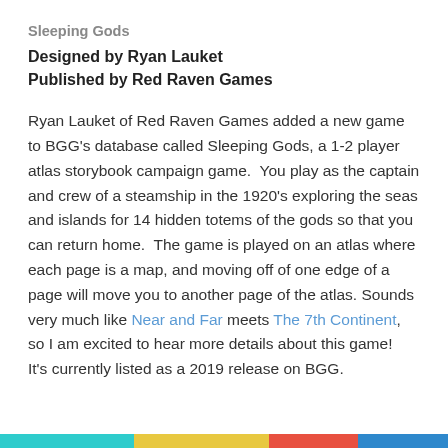Sleeping Gods
Designed by Ryan Lauket
Published by Red Raven Games
Ryan Lauket of Red Raven Games added a new game to BGG's database called Sleeping Gods, a 1-2 player atlas storybook campaign game.  You play as the captain and crew of a steamship in the 1920's exploring the seas and islands for 14 hidden totems of the gods so that you can return home.  The game is played on an atlas where each page is a map, and moving off of one edge of a page will move you to another page of the atlas. Sounds very much like Near and Far meets The 7th Continent, so I am excited to hear more details about this game!  It's currently listed as a 2019 release on BGG.
[Figure (other): Colored bar strip at the bottom of the page with teal, yellow, red, and blue segments]